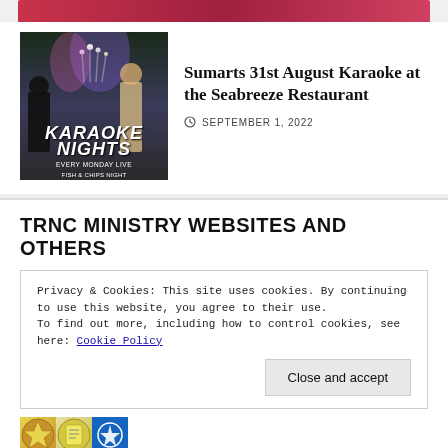[Figure (photo): Partially visible top image strip with red/pink tones at the very top of the page]
[Figure (photo): Karaoke Nights promotional image for Seabreeze Restaurant showing people and microphone lights with text SEABREEZE, KARAOKE NIGHTS, FISH & CHIPS NIGHT]
Sumarts 31st August Karaoke at the Seabreeze Restaurant
SEPTEMBER 1, 2022
TRNC MINISTRY WEBSITES AND OTHERS
Privacy & Cookies: This site uses cookies. By continuing to use this website, you agree to their use.
To find out more, including how to control cookies, see here: Cookie Policy
Close and accept
[Figure (photo): Bottom strip showing partial logos/emblems with gold, yellow and blue colors]